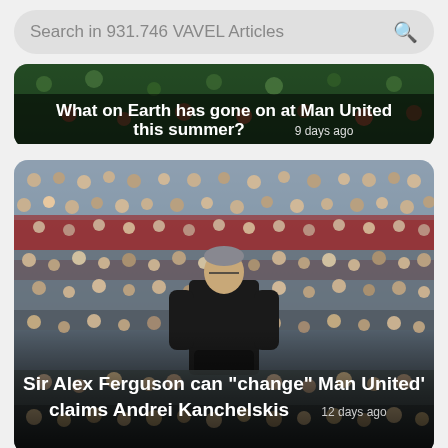Search in 931.746 VAVEL Articles
[Figure (screenshot): News article card with crowd/stadium background: 'What on Earth has gone on at Man United this summer? 9 days ago']
[Figure (photo): News article card showing Sir Alex Ferguson standing on football pitch sideline in front of large crowd: 'Sir Alex Ferguson can "change" Man United' claims Andrei Kanchelskis 12 days ago']
[Figure (photo): Partially visible news article card at bottom of page showing blurred crowd/stadium scene]